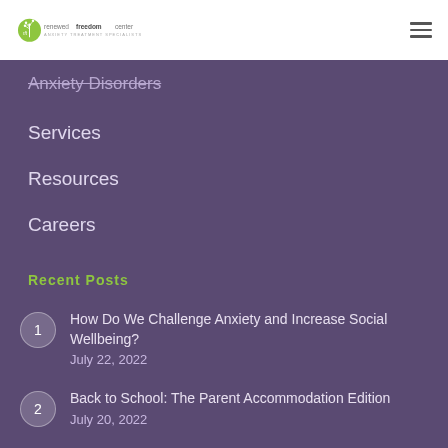[Figure (logo): Renewed Freedom Center logo with green stylized plant/circle icon and text 'renewed freedom center']
Anxiety Disorders
Services
Resources
Careers
Recent Posts
1  How Do We Challenge Anxiety and Increase Social Wellbeing?
July 22, 2022
2  Back to School: The Parent Accommodation Edition
July 20, 2022